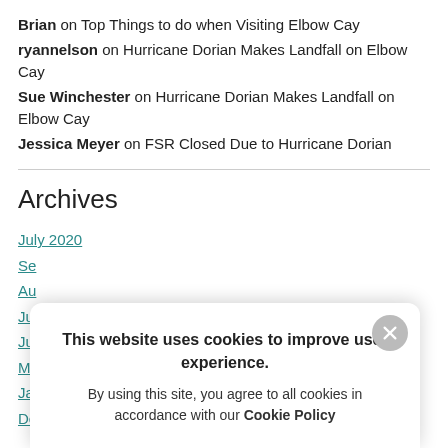Brian on Top Things to do when Visiting Elbow Cay
ryannelson on Hurricane Dorian Makes Landfall on Elbow Cay
Sue Winchester on Hurricane Dorian Makes Landfall on Elbow Cay
Jessica Meyer on FSR Closed Due to Hurricane Dorian
Archives
July 2020
Se...
Au...
Ju...
Ju...
M...
Ja...
De...
This website uses cookies to improve user experience. By using this site, you agree to all cookies in accordance with our Cookie Policy